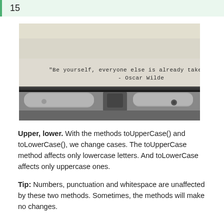15
[Figure (photo): Black and white photo of a typewriter with paper showing the quote: "Be yourself, everyone else is already taken." - Oscar Wilde]
Upper, lower. With the methods toUpperCase() and toLowerCase(), we change cases. The toUpperCase method affects only lowercase letters. And toLowerCase affects only uppercase ones.
Tip: Numbers, punctuation and whitespace are unaffected by these two methods. Sometimes, the methods will make no changes.